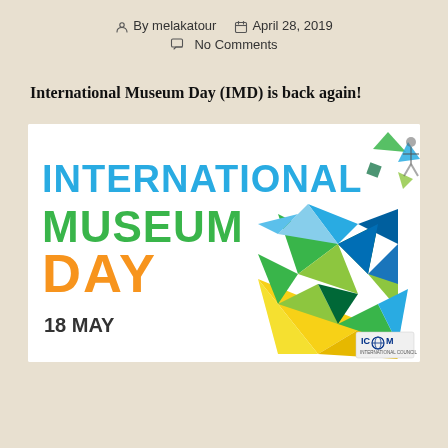By melakatour   April 28, 2019   No Comments
International Museum Day (IMD) is back again!
[Figure (illustration): International Museum Day promotional banner. Large text reads INTERNATIONAL MUSEUM DAY in blue and green, DAY in orange/yellow, 18 MAY in dark text. Right side shows a geometric low-poly human head made of colorful triangles in blue, green, yellow. Top right has scattered geometric shapes. ICOM logo bottom right.]